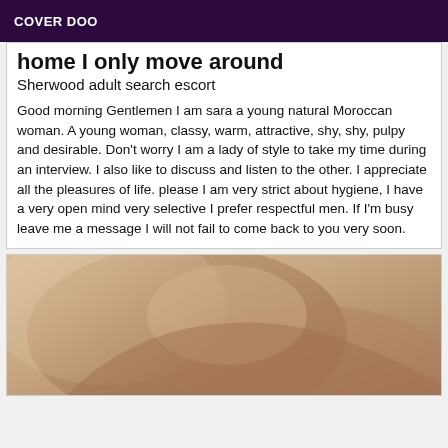COVER DOO
home I only move around
Sherwood adult search escort
Good morning Gentlemen I am sara a young natural Moroccan woman. A young woman, classy, warm, attractive, shy, shy, pulpy and desirable. Don't worry I am a lady of style to take my time during an interview. I also like to discuss and listen to the other. I appreciate all the pleasures of life. please I am very strict about hygiene, I have a very open mind very selective I prefer respectful men. If I'm busy leave me a message I will not fail to come back to you very soon.
[Figure (photo): Close-up photo of a person's shoulder and upper body area with warm skin tones]